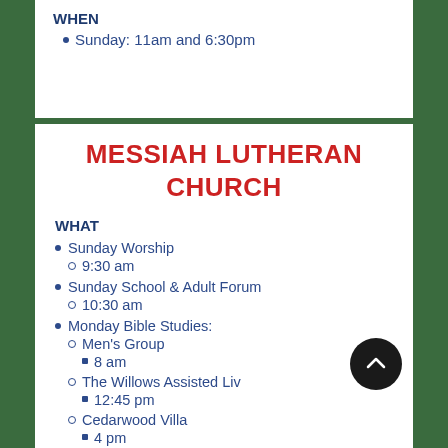WHEN
Sunday: 11am and 6:30pm
MESSIAH LUTHERAN CHURCH
WHAT
Sunday Worship
9:30 am
Sunday School & Adult Forum
10:30 am
Monday Bible Studies:
Men's Group
8 am
The Willows Assisted Li...
12:45 pm
Cedarwood Villa
4 pm
Women's Bible Study
Tuesdays 9 am